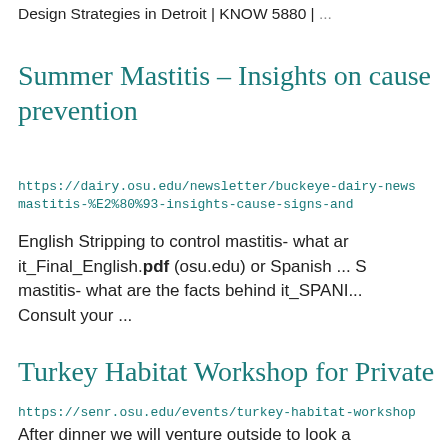Design Strategies in Detroit | KNOW 5880 | ...
Summer Mastitis – Insights on cause prevention
https://dairy.osu.edu/newsletter/buckeye-dairy-news mastitis-%E2%80%93-insights-cause-signs-and
English Stripping to control mastitis- what an it_Final_English.pdf (osu.edu) or Spanish ... S mastitis- what are the facts behind it_SPANI... Consult your ...
Turkey Habitat Workshop for Private
https://senr.osu.edu/events/turkey-habitat-workshop
After dinner we will venture outside to look a habitat. Workshop for some additional ...